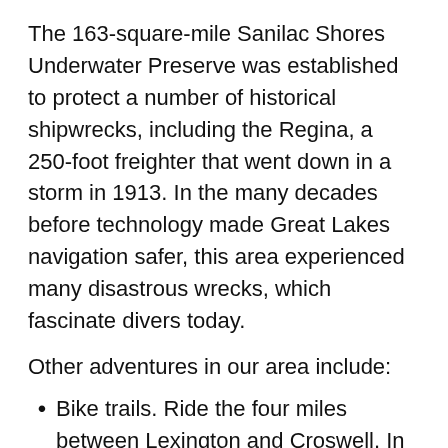The 163-square-mile Sanilac Shores Underwater Preserve was established to protect a number of historical shipwrecks, including the Regina, a 250-foot freighter that went down in a storm in 1913. In the many decades before technology made Great Lakes navigation safer, this area experienced many disastrous wrecks, which fascinate divers today.
Other adventures in our area include:
Bike trails. Ride the four miles between Lexington and Croswell. In Port Huron, ride south on the Bridge to Bay Trail or, in town ride or walk on two paved routes alongside the St. Clair River.
Kayaking on the less traveled upper Black River north of Croswell or, in Port Huron, on the 10-mile Island Loop Route National Water Trail, considered